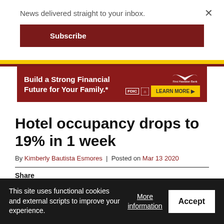News delivered straight to your inbox.
Subscribe
[Figure (infographic): First Hawaiian Bank advertisement banner with dark red background. Text: 'Build a Strong Financial Future for Your Family.*' with FDIC logo and 'LEARN MORE' button in yellow.]
Hotel occupancy drops to 19% in 1 week
By Kimberly Bautista Esmores | Posted on Mar 13 2020
Share
This site uses functional cookies and external scripts to improve your experience.
More information
Accept